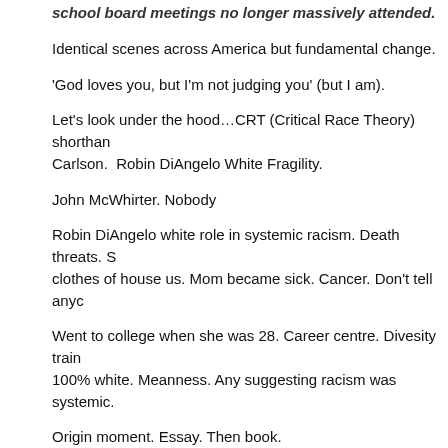school board meetings no longer massively attended.
Identical scenes across America but fundamental change.
'God loves you, but I'm not judging you' (but I am).
Let's look under the hood…CRT (Critical Race Theory) shorthand Tucker Carlson.  Robin DiAngelo White Fragility.
John McWhirter. Nobody
Robin DiAngelo white role in systemic racism. Death threats. S… clothes of house us. Mom became sick. Cancer. Don't tell anyo…
Went to college when she was 28. Career centre. Divesity train… 100% white. Meanness. Any suggesting racism was systemic.
Origin moment. Essay. Then book.
Fragility how little it takes to cause offence.
2018. Black Lives Matter. Books sold in droves. New York Time… murder. That's the narrative. But it had already been in the top 1…